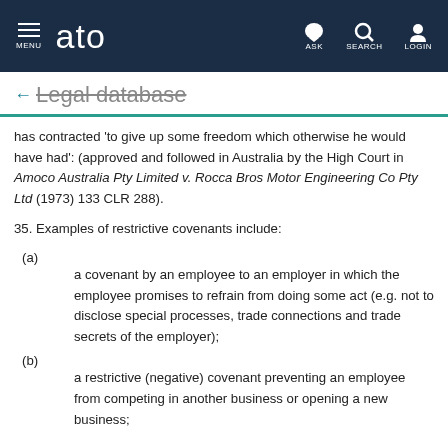MENU  ato  ASK  SEARCH  LOGIN
← Legal database
has contracted 'to give up some freedom which otherwise he would have had': (approved and followed in Australia by the High Court in Amoco Australia Pty Limited v. Rocca Bros Motor Engineering Co Pty Ltd (1973) 133 CLR 288).
35. Examples of restrictive covenants include:
(a) a covenant by an employee to an employer in which the employee promises to refrain from doing some act (e.g. not to disclose special processes, trade connections and trade secrets of the employer);
(b) a restrictive (negative) covenant preventing an employee from competing in another business or opening a new business;